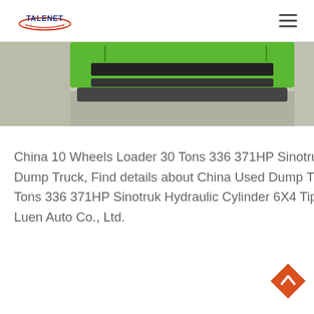TALENET
[Figure (photo): Partial view of a green industrial machine/truck component in a warehouse or showroom setting, cropped at the top of the content area.]
China 10 Wheels Loader 30 Tons 336 371HP Sinotruk Hydraulic Cylinder 6X4 Tipper Used HOWO Dump Truck, Find details about China Used Dump Truck, Used Trucks from 10 Wheels Loader 30 Tons 336 371HP Sinotruk Hydraulic Cylinder 6X4 Tipper Used HOWO Dump Truck - Shandong Luen Auto Co., Ltd.